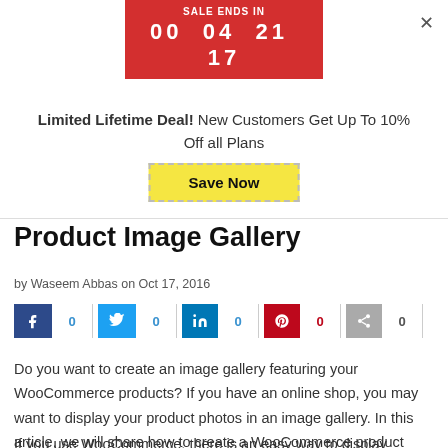[Figure (screenshot): Sale countdown banner: red background, 'SALE ENDS IN' label, timer showing 00 04 21 17]
Limited Lifetime Deal! New Customers Get Up To 10% Off all Plans
Save Now
Product Image Gallery
by Waseem Abbas on Oct 17, 2016
[Figure (infographic): Social share buttons: Facebook 0, Twitter 0, LinkedIn 0, Pinterest 0, Share 0]
Do you want to create an image gallery featuring your WooCommerce products? If you have an online shop, you may want to display your product photos in an image gallery. In this article, we will share how to create a WooCommerce product image gallery.
If you use WooCommerce, there is an easy way to display